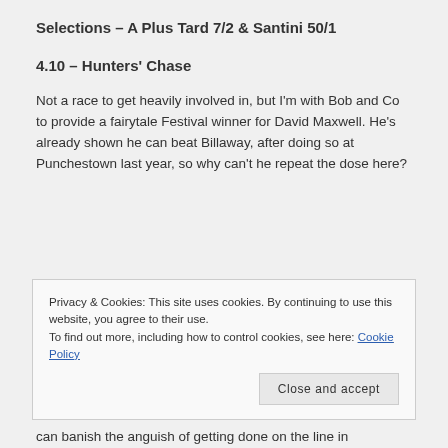Selections – A Plus Tard 7/2 & Santini 50/1
4.10 – Hunters' Chase
Not a race to get heavily involved in, but I'm with Bob and Co to provide a fairytale Festival winner for David Maxwell. He's already shown he can beat Billaway, after doing so at Punchestown last year, so why can't he repeat the dose here?
Privacy & Cookies: This site uses cookies. By continuing to use this website, you agree to their use.
To find out more, including how to control cookies, see here: Cookie Policy
can banish the anguish of getting done on the line in